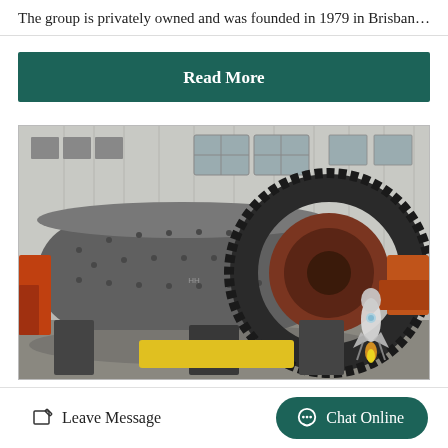The group is privately owned and was founded in 1979 in Brisban…
Read More
[Figure (photo): Large industrial ball mill machine with a large gear ring, photographed outdoors in a factory yard with a metal-clad building in the background. A small rocket/chat icon overlay is visible in the lower right of the image.]
Leave Message
Chat Online